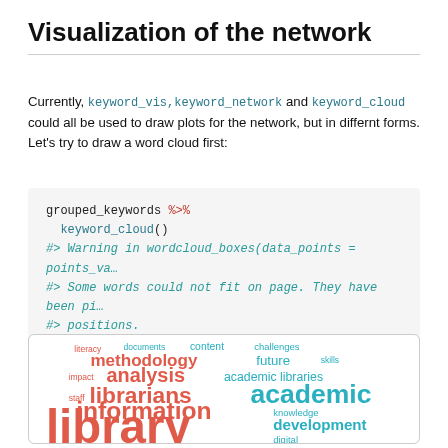Visualization of the network
Currently, keyword_vis,keyword_network and keyword_cloud could all be used to draw plots for the network, but in differnt forms. Let's try to draw a word cloud first:
[Figure (screenshot): R code block showing: grouped_keywords %>% keyword_cloud() with commented warning messages about wordcloud_boxes and words not fitting on page]
[Figure (other): Word cloud visualization showing library-related terms: library (very large, red), information (large, red), librarians (large, red), academic (large, cyan), development (medium, cyan), knowledge, staff, analysis, methodology, content, documents, literacy, impact, challenges, future, skills, academic libraries, digital, access — in red and cyan colors]